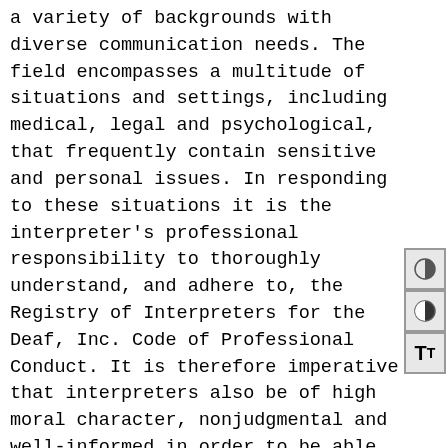a variety of backgrounds with diverse communication needs. The field encompasses a multitude of situations and settings, including medical, legal and psychological, that frequently contain sensitive and personal issues. In responding to these situations it is the interpreter's professional responsibility to thoroughly understand, and adhere to, the Registry of Interpreters for the Deaf, Inc. Code of Professional Conduct. It is therefore imperative that interpreters also be of high moral character, nonjudgmental and well-informed in order to be able to meet the challenges which arise in these sensitive, diverse and ever-changing situations.
The INT curriculum covers a variety of subject areas, including Deaf culture, structure of ASL, comparative English and ASL, professional practices and ethics, interpreting processes in theory and application, and guided skill development in ASL and interpreting with diagnostic feedback. The INT lab offers practice opportunities in both video and digital formats in a